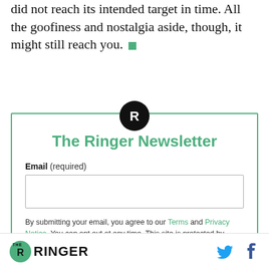did not reach its intended target in time. All the goofiness and nostalgia aside, though, it might still reach you. ■
[Figure (logo): The Ringer circular logo — black circle with white R lettermark]
The Ringer Newsletter
Email (required)
By submitting your email, you agree to our Terms and Privacy Notice. You can opt out at any time. This site is protected by reCAPTCHA and the Google Privacy Policy and Terms of Service apply.
The Ringer logo footer with social media icons (Twitter, Facebook)